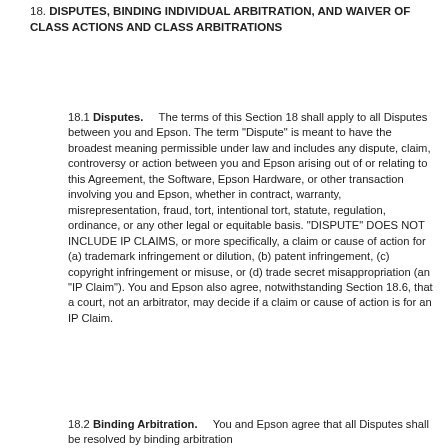18. DISPUTES, BINDING INDIVIDUAL ARBITRATION, AND WAIVER OF CLASS ACTIONS AND CLASS ARBITRATIONS
18.1 Disputes.     The terms of this Section 18 shall apply to all Disputes between you and Epson. The term "Dispute" is meant to have the broadest meaning permissible under law and includes any dispute, claim, controversy or action between you and Epson arising out of or relating to this Agreement, the Software, Epson Hardware, or other transaction involving you and Epson, whether in contract, warranty, misrepresentation, fraud, tort, intentional tort, statute, regulation, ordinance, or any other legal or equitable basis. "DISPUTE" DOES NOT INCLUDE IP CLAIMS, or more specifically, a claim or cause of action for (a) trademark infringement or dilution, (b) patent infringement, (c) copyright infringement or misuse, or (d) trade secret misappropriation (an "IP Claim"). You and Epson also agree, notwithstanding Section 18.6, that a court, not an arbitrator, may decide if a claim or cause of action is for an IP Claim.
18.2 Binding Arbitration.     You and Epson agree that all Disputes shall be resolved by binding arbitration